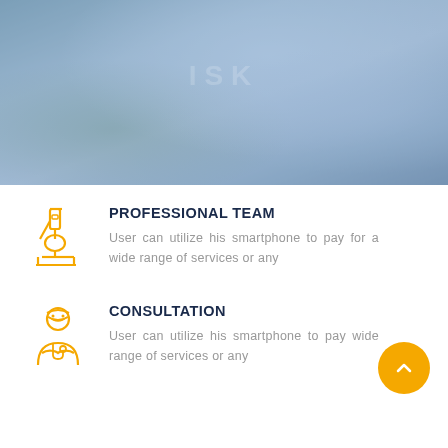[Figure (photo): Blue-tinted photo of a scientist or medical professional in a white lab coat, blurred background, laboratory setting]
PROFESSIONAL TEAM
User can utilize his smartphone to pay for a wide range of services or any
CONSULTATION
User can utilize his smartphone to pay wide range of services or any